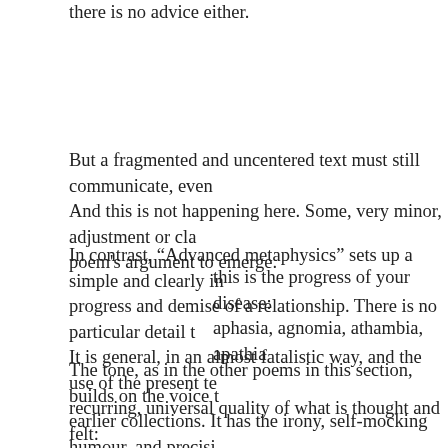there is no advice either.
But a fragmented and uncentered text must still communicate, even And this is not happening here. Some, very minor, adjustment or cla poem's argument to emerge.
In contrast, “Advanced metaphysics” sets up a simple and clearly in progress and demise of a relationship. There is no particular detail t It is general, in an almost fatalistic way, and the use of the present te recurring, universal quality of what is thought and felt:
this is the progress of your disease:
aphasia, agnomia, athambia, apathia
The tone, as in the other poems in this section, builds on the voice t earlier collections. It has the irony, self-mocking humour, and precisi poems, and the ease and literary playfulness of the Cabin Fever col